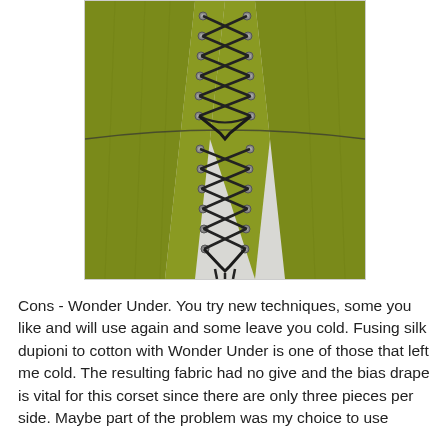[Figure (photo): Close-up photo of the back of a yellow-green (chartreuse/olive) corset with black lacing running down the center back. The corset shows dramatic waist shaping with the laces crossing in an X pattern from top to bottom, with metal grommets/eyelets. The fabric appears to be a silk or satin dupioni material.]
Cons - Wonder Under. You try new techniques, some you like and will use again and some leave you cold. Fusing silk dupioni to cotton with Wonder Under is one of those that left me cold. The resulting fabric had no give and the bias drape is vital for this corset since there are only three pieces per side. Maybe part of the problem was my choice to use